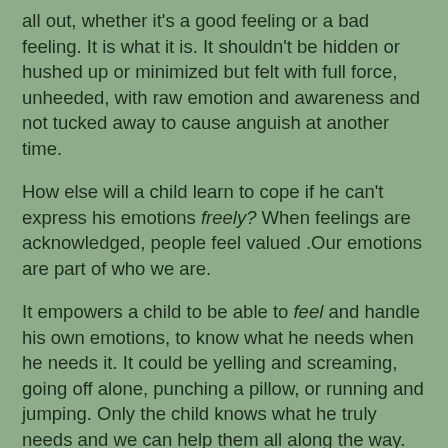all out, whether it's a good feeling or a bad feeling. It is what it is. It shouldn't be hidden or hushed up or minimized but felt with full force, unheeded, with raw emotion and awareness and not tucked away to cause anguish at another time.
How else will a child learn to cope if he can't express his emotions freely? When feelings are acknowledged, people feel valued .Our emotions are part of who we are.
It empowers a child to be able to feel and handle his own emotions, to know what he needs when he needs it. It could be yelling and screaming, going off alone, punching a pillow, or running and jumping. Only the child knows what he truly needs and we can help them all along the way.
So next time there's a cranky toddler in a store or some sibling rivalry going on or your teen has an attitude, breathe and allow them to feel. Then see what you can do to help. Our children are our partners in the journey of life.